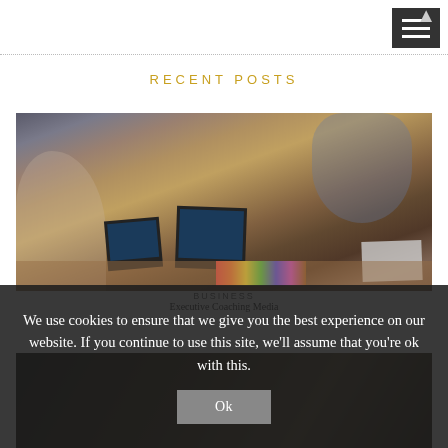RECENT POSTS
[Figure (photo): Office meeting scene with people around a table with laptops, tablets, and binders]
Business
Executive Coaching Media
We use cookies to ensure that we give you the best experience on our website. If you continue to use this site, we'll assume that you're ok with this.
[Figure (photo): Dark office/workspace photo strip at bottom of page]